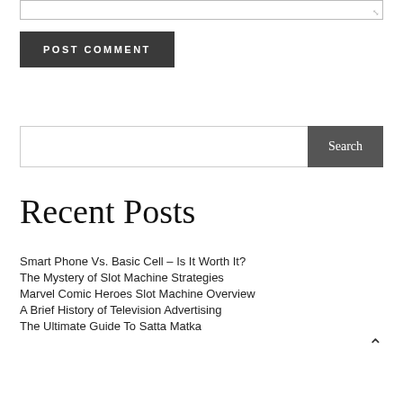[Figure (screenshot): Textarea input box with resize handle at bottom right]
POST COMMENT
[Figure (screenshot): Search input field with Search button]
Recent Posts
Smart Phone Vs. Basic Cell – Is It Worth It?
The Mystery of Slot Machine Strategies
Marvel Comic Heroes Slot Machine Overview
A Brief History of Television Advertising
The Ultimate Guide To Satta Matka